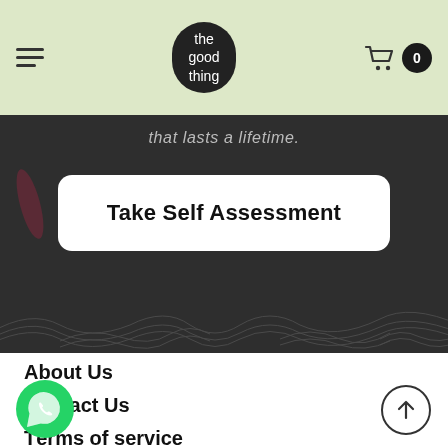the good thing — navigation header with cart showing 0
that lasts a lifetime.
Take Self Assessment
About Us
Contact Us
Terms of service